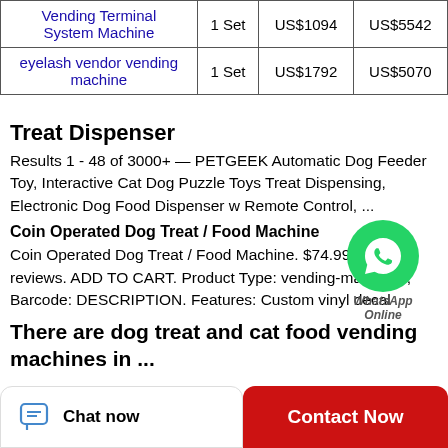| Product | Min. Order | Price | Price |
| --- | --- | --- | --- |
| Vending Terminal System Machine | 1 Set | US$1094 | US$5542 |
| eyelash vendor vending machine | 1 Set | US$1792 | US$5070 |
Treat Dispenser
Results 1 - 48 of 3000+ — PETGEEK Automatic Dog Feeder Toy, Interactive Cat Dog Puzzle Toys Treat Dispensing, Electronic Dog Food Dispenser w Remote Control, ...
Coin Operated Dog Treat / Food Machine
Coin Operated Dog Treat / Food Machine. $74.99. No reviews. ADD TO CART. Product Type: vending-machines; Barcode: DESCRIPTION. Features: Custom vinyl decal
There are dog treat and cat food vending machines in ...
[Figure (illustration): WhatsApp green circle logo with phone icon, labeled WhatsApp Online in italic]
Chat now
Contact Now